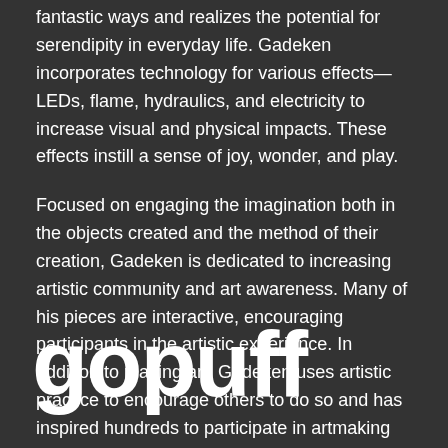fantastic ways and realizes the potential for serendipity in everyday life. Gadeken incorporates technology for various effects—LEDs, flame, hydraulics, and electricity to increase visual and physical impacts. These effects instill a sense of joy, wonder, and play.
Focused on engaging the imagination both in the objects created and the method of their creation, Gadeken is dedicated to increasing artistic community and art awareness. Many of his pieces are interactive, encouraging participants in the artistic experience. In addition to making art, Gadeken uses artistic practice to encourage others to do so and has inspired hundreds to participate in artmaking for multiple projects.
[Figure (logo): gopuff logo in large bold white lowercase text on dark background]